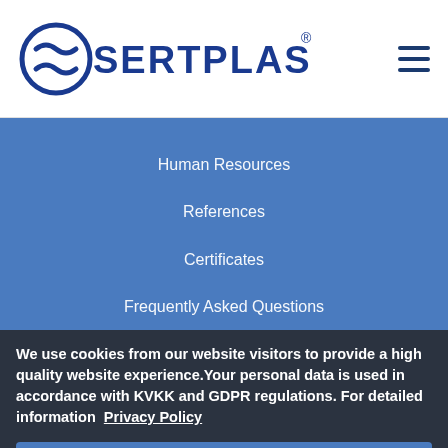[Figure (logo): Sertplas logo with stylized S icon and SERTPLAS text with registered trademark symbol, in dark blue]
Human Resources
References
Certificates
Frequently Asked Questions
Privacy
We use cookies from our website visitors to provide a high quality website experience.Your personal data is used in accordance with KVKK and GDPR regulations. For detailed information  Privacy Policy
OK
MERKEZ
Büyük Kirişli Mah.
Hançer Sokak No:6 34570